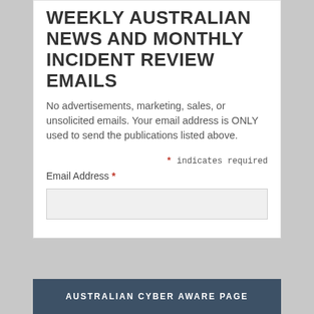WEEKLY AUSTRALIAN NEWS AND MONTHLY INCIDENT REVIEW EMAILS
No advertisements, marketing, sales, or unsolicited emails. Your email address is ONLY used to send the publications listed above.
* indicates required
Email Address *
AUSTRALIAN CYBER AWARE PAGE